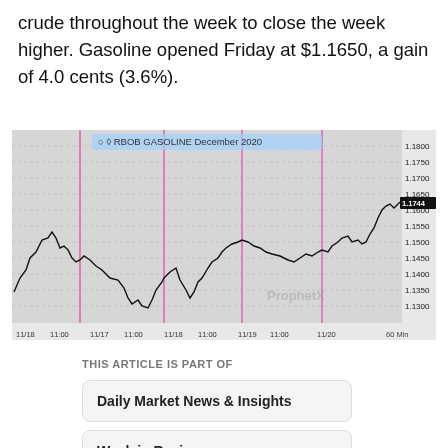crude throughout the week to close the week higher. Gasoline opened Friday at $1.1650, a gain of 4.0 cents (3.6%).
[Figure (continuous-plot): 60-minute candlestick/line chart of RBOB Gasoline December 2020 futures from 11/18 to 11/20, showing price range approximately 1.1300 to 1.1800, with current price label 1.1744. Pink vertical lines mark daily separations. ProphetX watermark visible.]
THIS ARTICLE IS PART OF
Daily Market News & Insights
Week in Review